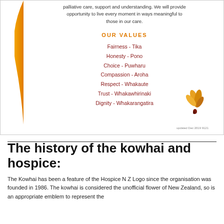palliative care, support and understanding. We will provide opportunity to live every moment in ways meaningful to those in our care.
OUR VALUES
Fairness - Tika
Honesty - Pono
Choice - Puwharu
Compassion - Aroha
Respect  -  Whakaute
Trust - Whakawhirinaki
Dignity - Whakarangatira
[Figure (logo): Kowhai flower logo in orange/gold tones]
updated Dec 2019 9121
The history of the kowhai and hospice:
The Kowhai has been a feature of the Hospice N Z Logo since the organisation was founded in 1986.  The kowhai is considered the unofficial flower of New Zealand, so is an appropriate emblem to represent the